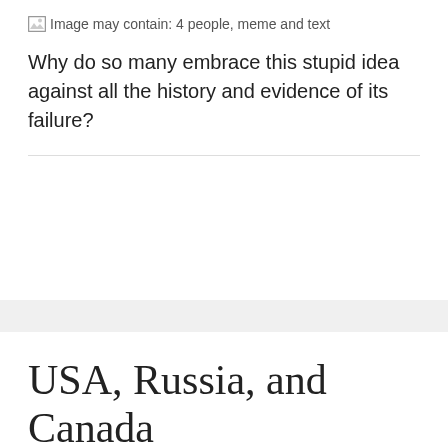[Figure (other): Broken image placeholder with alt text: Image may contain: 4 people, meme and text]
Why do so many embrace this stupid idea against all the history and evidence of its failure?
USA, Russia, and Canada
IMAGE
JULY 30, 2018
PASTORWARDCLINTON
LEAVE A COMMENT